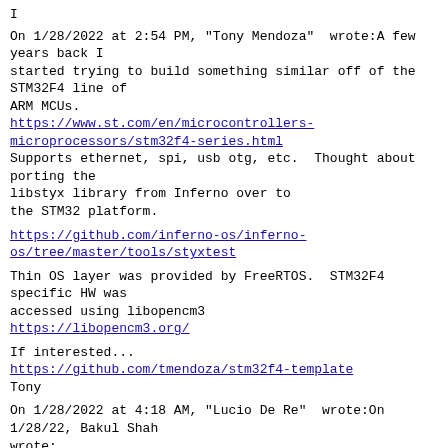I
On 1/28/2022 at 2:54 PM, "Tony Mendoza"  wrote:A few years back I
started trying to build something similar off of the STM32F4 line of
ARM MCUs.
https://www.st.com/en/microcontrollers-microprocessors/stm32f4-series.html
Supports ethernet, spi, usb otg, etc.  Thought about porting the
libstyx library from Inferno over to
the STM32 platform.
https://github.com/inferno-os/inferno-os/tree/master/tools/styxtest
Thin OS layer was provided by FreeRTOS.  STM32F4 specific HW was
accessed using libopencm3
https://libopencm3.org/
If interested...
https://github.com/tmendoza/stm32f4-template
Tony
On 1/28/2022 at 4:18 AM, "Lucio De Re"  wrote:On 1/28/22, Bakul Shah
wrote:
>